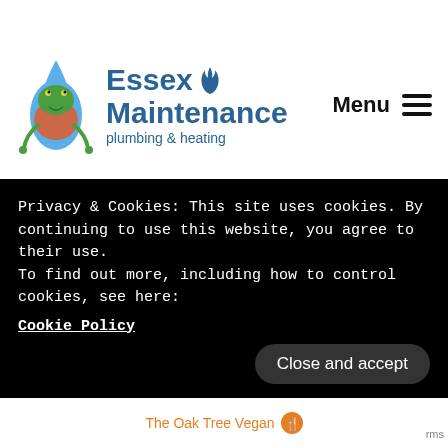[Figure (logo): Essex Maintenance plumbing & heating logo with frog and water drop illustration, blue flame icon, and navigation Menu with hamburger icon]
[Figure (map): Google Maps screenshot showing area around Darlinghurst Academy, Manchester Dr, Derix Healthcare Pharmacy (red marker), Westcliff High School for Girls, Kent Ave, Glenbervie Dr, Olivia Dr, Cheltenham Dr, Eastwood, Fillebrook Ave, Partners, Furniture Out (blue marker)]
Privacy & Cookies: This site uses cookies. By continuing to use this website, you agree to their use.
To find out more, including how to control cookies, see here:
Cookie Policy
Close and accept
The Oak Tree Vegan